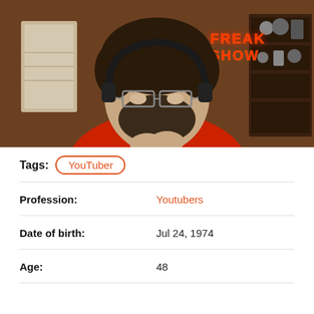[Figure (photo): A man with curly dark hair, beard, glasses and headphones wearing a red shirt, sitting in front of a gaming/streaming setup with a neon 'FREAK SHOW' sign in the background and shelves with collectibles]
Tags: YouTuber
| Profession: | Youtubers |
| Date of birth: | Jul 24, 1974 |
| Age: | 48 |